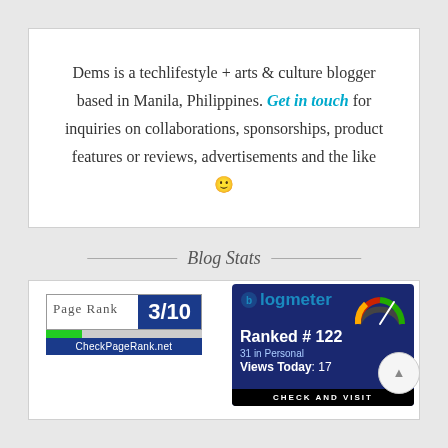Dems is a techlifestyle + arts & culture blogger based in Manila, Philippines. Get in touch for inquiries on collaborations, sponsorships, product features or reviews, advertisements and the like 🙂
Blog Stats
[Figure (other): PageRank badge showing 3/10 rating with green progress bar and CheckPageRank.net label]
[Figure (other): Blogmeter badge showing Ranked #122, 31 in Personal, Views Today: 17, with CHECK AND VISIT button]